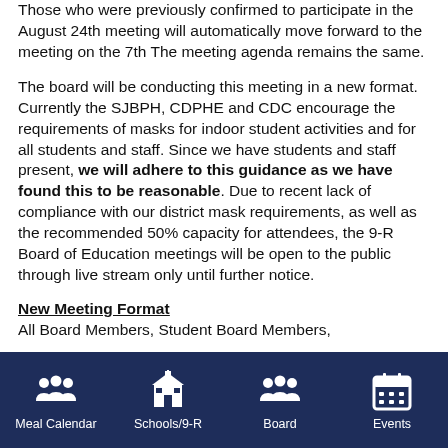Those who were previously confirmed to participate in the August 24th meeting will automatically move forward to the meeting on the 7th The meeting agenda remains the same.
The board will be conducting this meeting in a new format. Currently the SJBPH, CDPHE and CDC encourage the requirements of masks for indoor student activities and for all students and staff. Since we have students and staff present, we will adhere to this guidance as we have found this to be reasonable. Due to recent lack of compliance with our district mask requirements, as well as the recommended 50% capacity for attendees, the 9-R Board of Education meetings will be open to the public through live stream only until further notice.
New Meeting Format
All Board Members, Student Board Members,
Meal Calendar  Schools/9-R  Board  Events